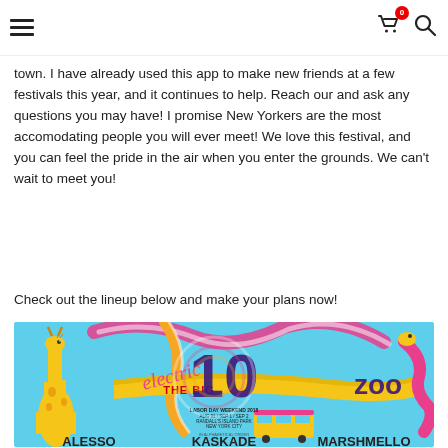≡  🛒0  🔍
town. I have already used this app to make new friends at a few festivals this year, and it continues to help. Reach our and ask any questions you may have! I promise New Yorkers are the most accomodating people you will ever meet! We love this festival, and you can feel the pride in the air when you enter the grounds. We can't wait to meet you!
Check out the lineup below and make your plans now!
[Figure (illustration): Electric Zoo 'The Big 10' festival poster for Labor Day Weekend 2018, Aug 31 / Sep 1 / Sep 2, Randall's Island Park, New York City. Features colorful psychedelic artwork with giraffes, NYC subway train, and bold typography. Artists listed at bottom: ALESSO, KASKADE, MARSHMELLO (in alphabetical order).]